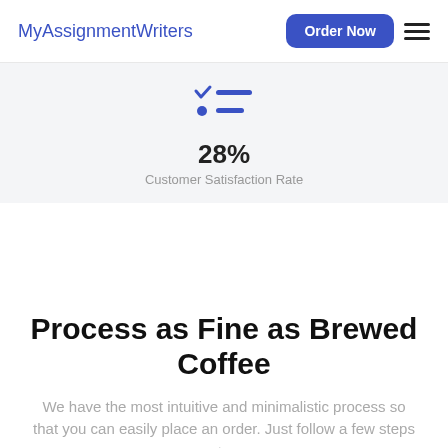MyAssignmentWriters
[Figure (infographic): Checklist icon with blue checkmark and blue dot with two horizontal blue lines]
28%
Customer Satisfaction Rate
Process as Fine as Brewed Coffee
We have the most intuitive and minimalistic process so that you can easily place an order. Just follow a few steps to